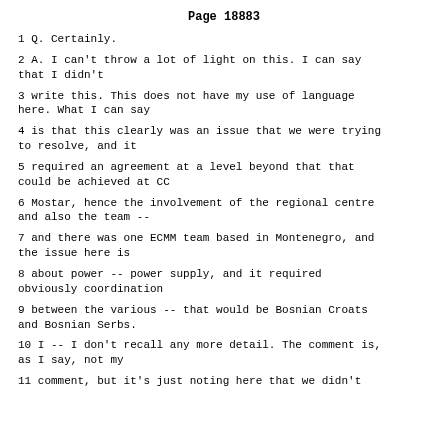Page 18883
1 Q. Certainly.
2 A. I can't throw a lot of light on this. I can say that I didn't
3 write this. This does not have my use of language here. What I can say
4 is that this clearly was an issue that we were trying to resolve, and it
5 required an agreement at a level beyond that that could be achieved at CC
6 Mostar, hence the involvement of the regional centre and also the team --
7 and there was one ECMM team based in Montenegro, and the issue here is
8 about power -- power supply, and it required obviously coordination
9 between the various -- that would be Bosnian Croats and Bosnian Serbs.
10 I -- I don't recall any more detail. The comment is, as I say, not my
11 comment, but it's just noting here that we didn't